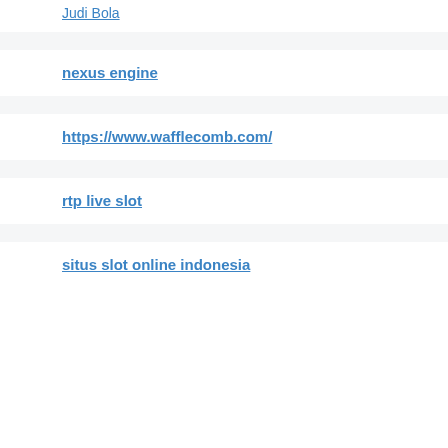Judi Bola
nexus engine
https://www.wafflecomb.com/
rtp live slot
situs slot online indonesia